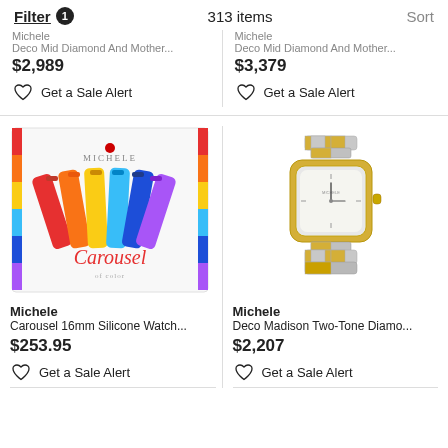Filter 1   313 items   Sort
Michele
Deco Mid Diamond And Mother...
$2,989
Get a Sale Alert
Michele
Deco Mid Diamond And Mother...
$3,379
Get a Sale Alert
[Figure (photo): Michele Carousel 16mm Silicone Watch straps set in multiple colors (red, orange, yellow, light blue, dark blue, purple, pink), shown in a white box with 'Carousel' script text]
Michele
Carousel 16mm Silicone Watch...
$253.95
Get a Sale Alert
[Figure (photo): Michele Deco Madison Two-Tone Diamond watch with square face, gold and silver two-tone bracelet]
Michele
Deco Madison Two-Tone Diamo...
$2,207
Get a Sale Alert